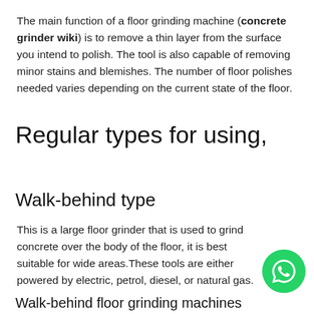The main function of a floor grinding machine (concrete grinder wiki) is to remove a thin layer from the surface you intend to polish. The tool is also capable of removing minor stains and blemishes. The number of floor polishes needed varies depending on the current state of the floor.
Regular types for using,
Walk-behind type
This is a large floor grinder that is used to grind concrete over the body of the floor, it is best suitable for wide areas. These tools are either powered by electric, petrol, diesel, or natural gas.
Walk-behind floor grinding machines